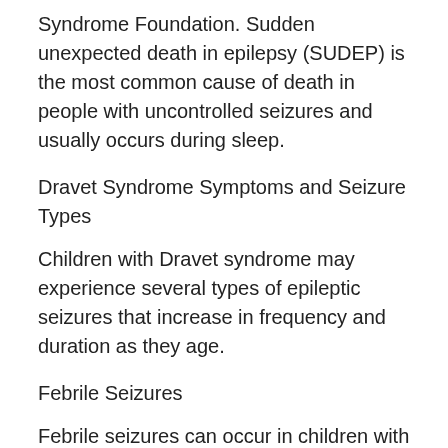Syndrome Foundation. Sudden unexpected death in epilepsy (SUDEP) is the most common cause of death in people with uncontrolled seizures and usually occurs during sleep.
Dravet Syndrome Symptoms and Seizure Types
Children with Dravet syndrome may experience several types of epileptic seizures that increase in frequency and duration as they age.
Febrile Seizures
Febrile seizures can occur in children with or without Dravet syndrome and are typically triggered by a high body temperature or childhood illness. They are usually the first seizures a child with Dravet syndrome may experience. Febrile seizures appear as stiffness and